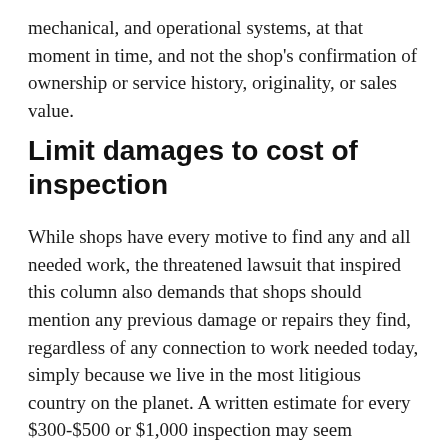mechanical, and operational systems, at that moment in time, and not the shop's confirmation of ownership or service history, originality, or sales value.
Limit damages to cost of inspection
While shops have every motive to find any and all needed work, the threatened lawsuit that inspired this column also demands that shops should mention any previous damage or repairs they find, regardless of any connection to work needed today, simply because we live in the most litigious country on the planet. A written estimate for every $300-$500 or $1,000 inspection may seem excessive, but shops should have, at a minimum, a standard PPI agreement form. That form should require binding arbitration in the shop's area. Any act or omission that might lead to liability must materially affect the performance or value of the car, and liquidated damages should be limited to the cost of the inspection.